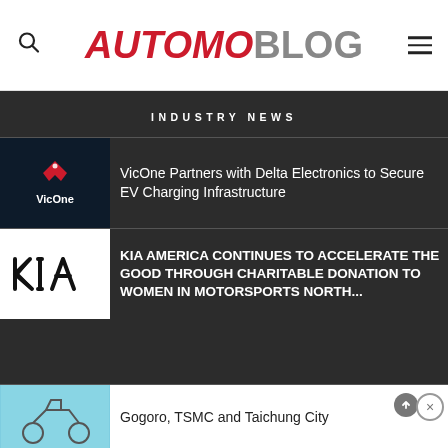AUTOMOBLOG
INDUSTRY NEWS
[Figure (logo): VicOne logo — dark navy background with red V-shaped emblem and white VicOne text]
VicOne Partners with Delta Electronics to Secure EV Charging Infrastructure
[Figure (logo): Kia logo — white background with black stylized KIA lettering]
KIA AMERICA CONTINUES TO ACCELERATE THE GOOD THROUGH CHARITABLE DONATION TO WOMEN IN MOTORSPORTS NORTH...
[Figure (photo): Gogoro/TSMC thumbnail — light blue background with a vehicle or scooter image]
Gogoro, TSMC and Taichung City